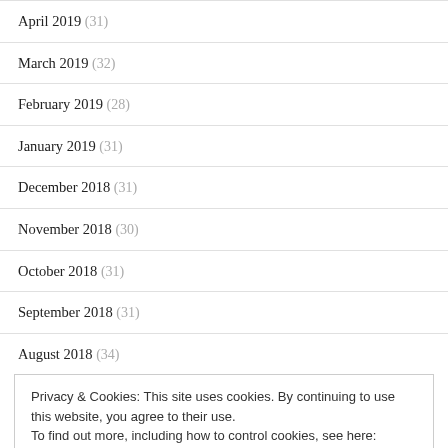April 2019 (31)
March 2019 (32)
February 2019 (28)
January 2019 (31)
December 2018 (31)
November 2018 (30)
October 2018 (31)
September 2018 (31)
August 2018 (34)
Privacy & Cookies: This site uses cookies. By continuing to use this website, you agree to their use. To find out more, including how to control cookies, see here: Cookie Policy
April 2018 (43)